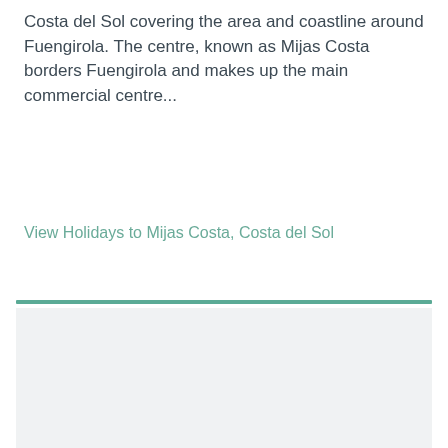Costa del Sol covering the area and coastline around Fuengirola. The centre, known as Mijas Costa borders Fuengirola and makes up the main commercial centre...
View Holidays to Mijas Costa, Costa del Sol
[Figure (other): A light grey placeholder box below a teal horizontal divider line]